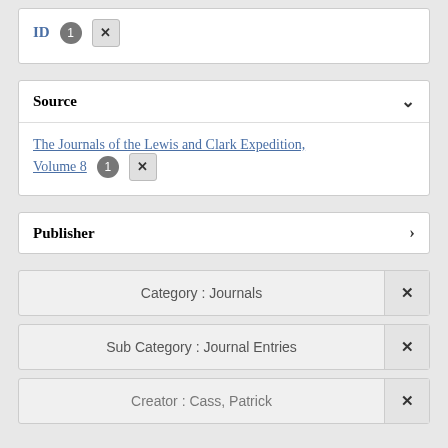ID 1 ×
Source ▾
The Journals of the Lewis and Clark Expedition, Volume 8 1 ×
Publisher ▶
Category : Journals ×
Sub Category : Journal Entries ×
Creator : Cass, Patrick ×